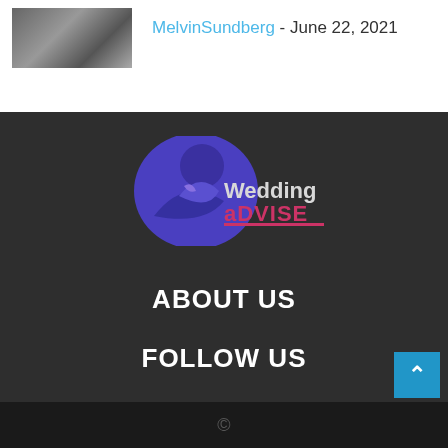[Figure (photo): Small thumbnail image of a dark/outdoor scene]
MelvinSundberg - June 22, 2021
[Figure (logo): Wedding Advise logo with blue bird/couple silhouette and text 'Wedding aDVISE']
ABOUT US
FOLLOW US
©